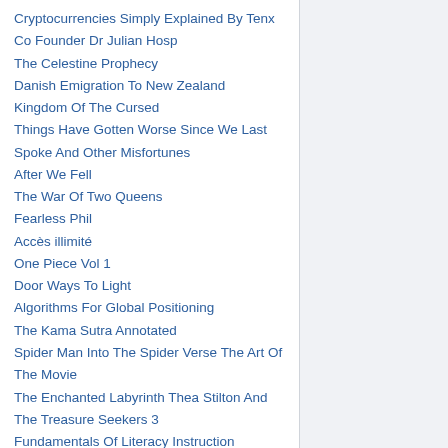Cryptocurrencies Simply Explained By Tenx Co Founder Dr Julian Hosp
The Celestine Prophecy
Danish Emigration To New Zealand
Kingdom Of The Cursed
Things Have Gotten Worse Since We Last Spoke And Other Misfortunes
After We Fell
The War Of Two Queens
Fearless Phil
Accès illimité
One Piece Vol 1
Door Ways To Light
Algorithms For Global Positioning
The Kama Sutra Annotated
Spider Man Into The Spider Verse The Art Of The Movie
The Enchanted Labyrinth Thea Stilton And The Treasure Seekers 3
Fundamentals Of Literacy Instruction